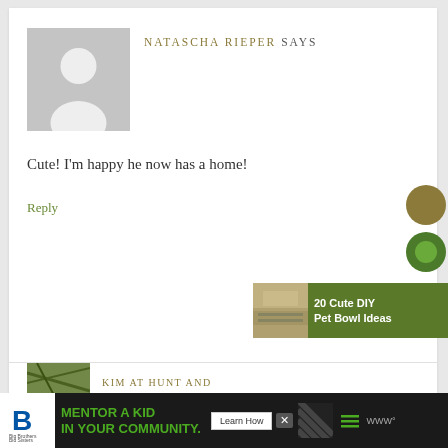[Figure (photo): Default user avatar placeholder (grey silhouette of a person on grey background)]
NATASCHA RIEPER SAYS
Cute! I'm happy he now has a home!
Reply
[Figure (illustration): Circular olive/gold colored social sharing button]
[Figure (illustration): Circular green colored social sharing button]
[Figure (illustration): Side widget with thumbnail image and text: 20 Cute DIY Pet Bowl Ideas on green background]
KIM AT HUNT AND
[Figure (photo): Partial thumbnail photo for next comment]
MENTOR A KID IN YOUR COMMUNITY.
Learn How